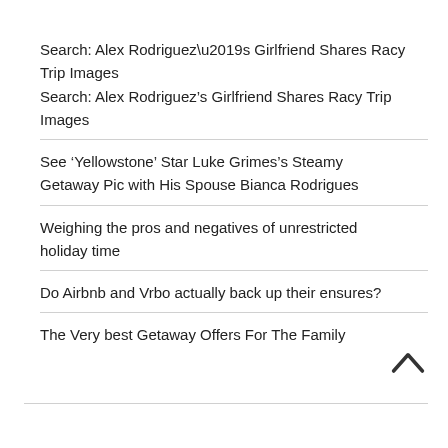Search: Alex Rodriguez’s Girlfriend Shares Racy Trip Images
See ‘Yellowstone’ Star Luke Grimes’s Steamy Getaway Pic with His Spouse Bianca Rodrigues
Weighing the pros and negatives of unrestricted holiday time
Do Airbnb and Vrbo actually back up their ensures?
The Very best Getaway Offers For The Family